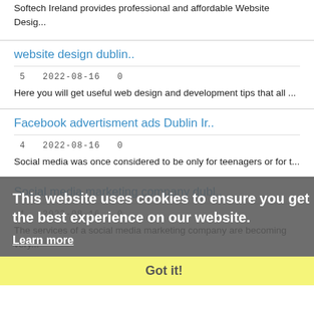Softech Ireland provides professional and affordable Website Desig...
website design dublin..
5  2022-08-16  0
Here you will get useful web design and development tips that all ...
Facebook advertisment ads Dublin Ir..
4  2022-08-16  0
Social media was once considered to be only for teenagers or for t...
Social media marketing company dubl..
1  2022-08-16  0
The services of a social media marketing company are becoming very...
This website uses cookies to ensure you get the best experience on our website.
Learn more
Got it!